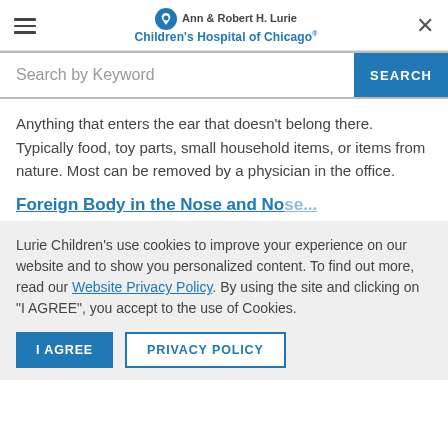Ann & Robert H. Lurie Children's Hospital of Chicago
[Figure (screenshot): Search bar with keyword input field and blue SEARCH button]
Anything that enters the ear that doesn't belong there. Typically food, toy parts, small household items, or items from nature. Most can be removed by a physician in the office.
Foreign Body in the Nose and Nose...
Lurie Children's use cookies to improve your experience on our website and to show you personalized content. To find out more, read our Website Privacy Policy. By using the site and clicking on "I AGREE", you accept to the use of Cookies.